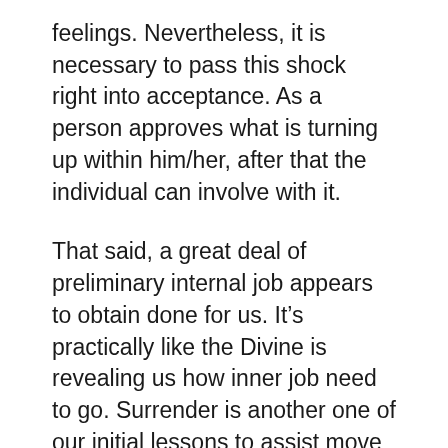feelings. Nevertheless, it is necessary to pass this shock right into acceptance. As a person approves what is turning up within him/her, after that the individual can involve with it.
That said, a great deal of preliminary internal job appears to obtain done for us. It’s practically like the Divine is revealing us how inner job need to go. Surrender is another one of our initial lessons to assist move past the shock of awakened power. Selecting and also proactively involving with vanity problems is vital to doing inner work, but initially, abandonment needs to come.
When you give up to the river, you allow it pull in the instructions it wants to go. As you